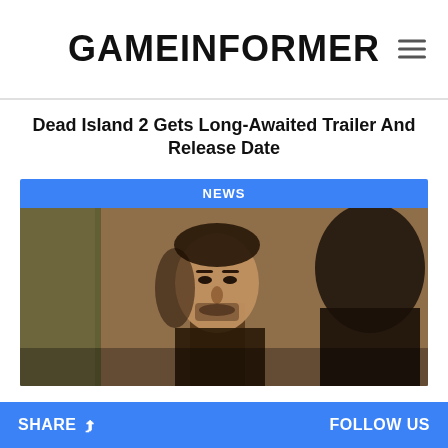GAME INFORMER
Dead Island 2 Gets Long-Awaited Trailer And Release Date
[Figure (photo): Photo of a man (actor) in a dark scene, with a blue NEWS label banner at the top of the card]
HBO Releases First Footage From The Last Of Us Show Coming Next Year
GAMESCOM 2022
SHARE   FOLLOW US